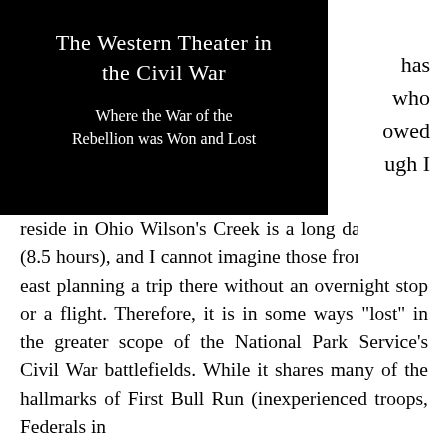The Western Theater in the Civil War
Where the War of the Rebellion was Won and Lost
has who owed ugh I reside in Ohio Wilson's Creek is a long day's drive (8.5 hours), and I cannot imagine those from further east planning a trip there without an overnight stop or a flight. Therefore, it is in some ways "lost" in the greater scope of the National Park Service's Civil War battlefields. While it shares many of the hallmarks of First Bull Run (inexperienced troops, Federals in